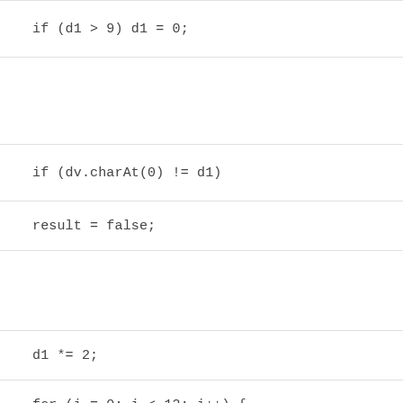if (d1 > 9) d1 = 0;
if (dv.charAt(0) != d1)
result = false;
d1 *= 2;
for (i = 0; i < 12; i++) {
d1 += c.charAt(11 - i) * (2 + ((i + 1) % 8));